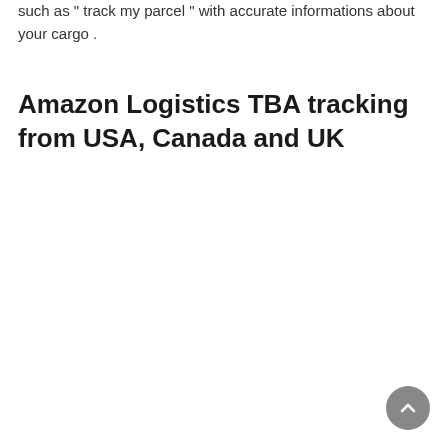such as " track my parcel " with accurate informations about your cargo .
Amazon Logistics TBA tracking from USA, Canada and UK